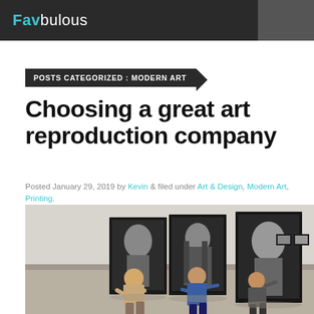Favbulous
POSTS CATEGORIZED : MODERN ART
Choosing a great art reproduction company
Posted January 29, 2019 by Kevin & filed under Art & Design, Modern Art, Printing.
[Figure (photo): People kneeling on a gallery floor arranging large framed black-and-white portrait paintings leaning against a wall]